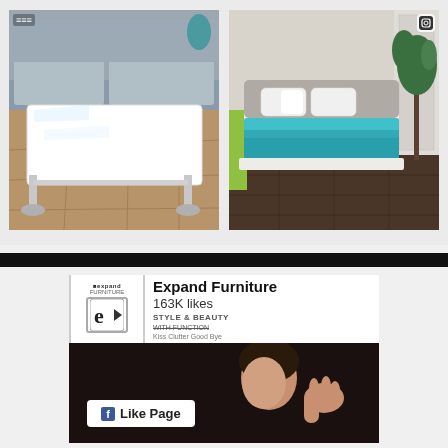[Figure (photo): White glass-top coffee table with chrome legs on a wooden floor, with grey sofa in background]
[Figure (photo): White platform bed with teal/turquoise comforter in a showroom with dark wood floor and green plant]
[Figure (screenshot): Expand Furniture Facebook page widget showing logo, 163K likes, Like Page button, and a person blowing a kiss]